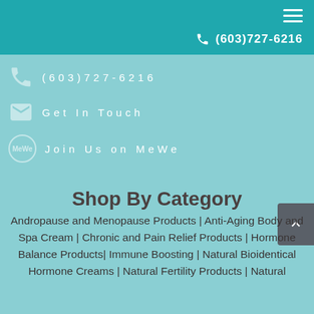(603)727-6216
(603)727-6216
Get In Touch
Join Us on MeWe
Shop By Category
Andropause and Menopause Products | Anti-Aging Body and Spa Cream | Chronic and Pain Relief Products | Hormone Balance Products| Immune Boosting | Natural Bioidentical Hormone Creams | Natural Fertility Products | Natural